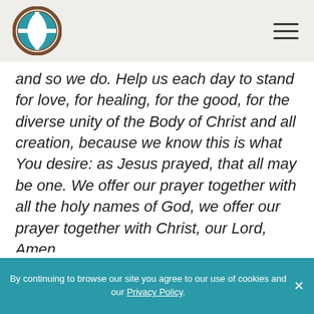[Logo: circle with cross globe icon] [Hamburger menu icon]
and so we do. Help us each day to stand for love, for healing, for the good, for the diverse unity of the Body of Christ and all creation, because we know this is what You desire: as Jesus prayed, that all may be one. We offer our prayer together with all the holy names of God, we offer our prayer together with Christ, our Lord, Amen.
Listen to the prayer.
By continuing to browse our site you agree to our use of cookies and our Privacy Policy. ×